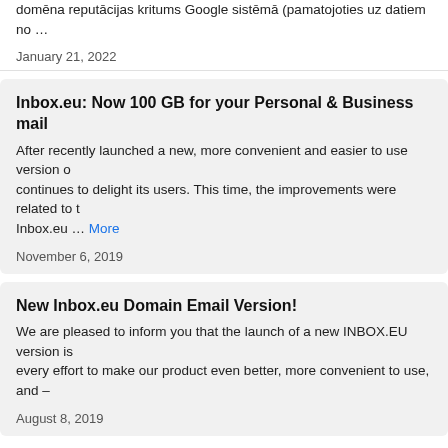domēna reputācijas kritums Google sistēmā (pamatojoties uz datiem no …
January 21, 2022
Inbox.eu: Now 100 GB for your Personal & Business mail
After recently launched a new, more convenient and easier to use version of continues to delight its users. This time, the improvements were related to t Inbox.eu … More
November 6, 2019
New Inbox.eu Domain Email Version!
We are pleased to inform you that the launch of a new INBOX.EU version is every effort to make our product even better, more convenient to use, and –
August 8, 2019